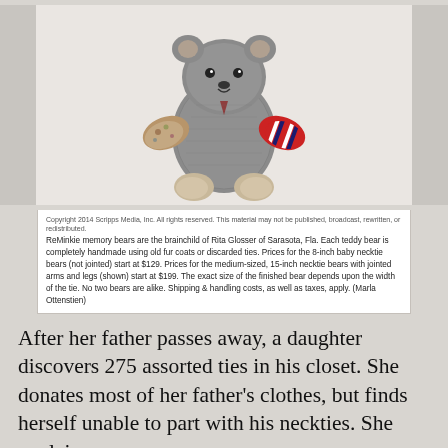[Figure (photo): A handmade teddy bear made from neckties and fur fabric, sitting upright. The bear features patterned fabrics including floral, striped red/white/blue, and knit gray textures, with tan/beige paw pads.]
Copyright 2014 Scripps Media, Inc. All rights reserved. This material may not be published, broadcast, rewritten, or redistributed. ReMinkie memory bears are the brainchild of Rita Glosser of Sarasota, Fla. Each teddy bear is completely handmade using old fur coats or discarded ties. Prices for the 8-inch baby necktie bears (not jointed) start at $129. Prices for the medium-sized, 15-inch necktie bears with jointed arms and legs (shown) start at $199. The exact size of the finished bear depends upon the width of the tie. No two bears are alike. Shipping & handling costs, as well as taxes, apply. (Marla Ottenstien)
After her father passes away, a daughter discovers 275 assorted ties in his closet. She donates most of her father's clothes, but finds herself unable to part with his neckties. She explains:
“My father was the most stylish guy you’d ever meet. Never one for sartorial excess, his closets were carefully curated to include only those items which were